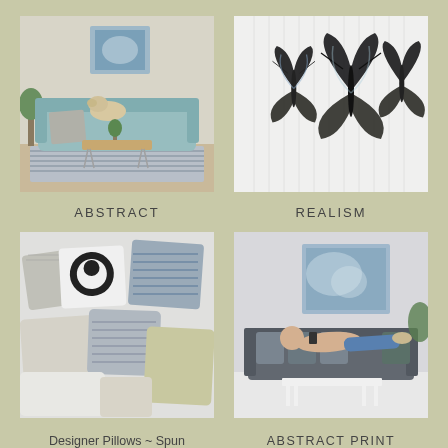[Figure (photo): Living room with a pale blue sofa, a dog sitting on it, a round wooden coffee table with hairpin legs, a striped rug, and an abstract blue painting on the wall above.]
[Figure (photo): Sheer white curtains with three large decorative butterfly prints arranged across them in black, white and blue.]
ABSTRACT
REALISM
[Figure (photo): Collection of decorative throw pillows in various patterns including black and white abstract, blue striped, and neutral tones arranged in a pile on white surface.]
[Figure (photo): Man lying on a gray sofa reading a phone, with a large abstract blue and white painting hanging on the wall behind him.]
Designer Pillows ~ Spun Polyester
ABSTRACT PRINT EDITIONS